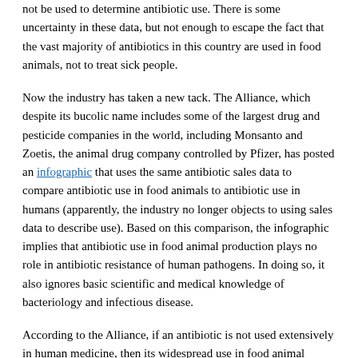not be used to determine antibiotic use. There is some uncertainty in these data, but not enough to escape the fact that the vast majority of antibiotics in this country are used in food animals, not to treat sick people.
Now the industry has taken a new tack. The Alliance, which despite its bucolic name includes some of the largest drug and pesticide companies in the world, including Monsanto and Zoetis, the animal drug company controlled by Pfizer, has posted an infographic that uses the same antibiotic sales data to compare antibiotic use in food animals to antibiotic use in humans (apparently, the industry no longer objects to using sales data to describe use). Based on this comparison, the infographic implies that antibiotic use in food animal production plays no role in antibiotic resistance of human pathogens. In doing so, it also ignores basic scientific and medical knowledge of bacteriology and infectious disease.
According to the Alliance, if an antibiotic is not used extensively in human medicine, then its widespread use in food animal production should not be a concern. For